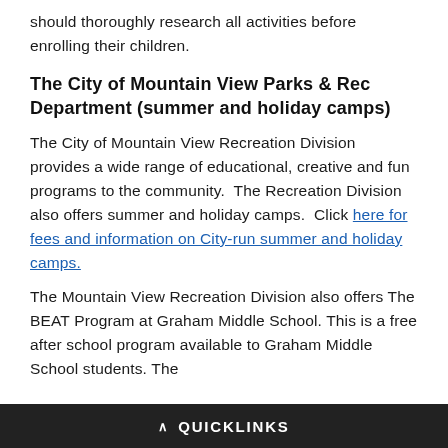and does not specifically endorse them. Parents should thoroughly research all activities before enrolling their children.
The City of Mountain View Parks & Rec Department (summer and holiday camps)
The City of Mountain View Recreation Division provides a wide range of educational, creative and fun programs to the community. The Recreation Division also offers summer and holiday camps. Click here for fees and information on City-run summer and holiday camps.
The Mountain View Recreation Division also offers The BEAT Program at Graham Middle School. This is a free after school program available to Graham Middle School students. The
^ QUICKLINKS